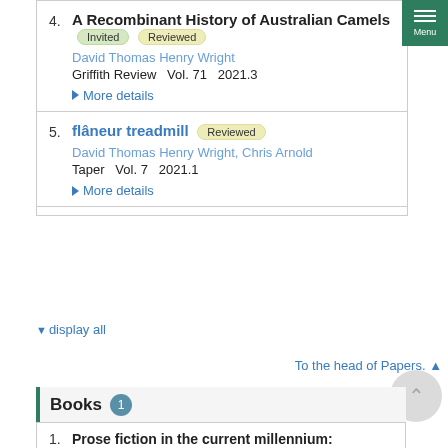4. A Recombinant History of Australian Camels [Invited] [Reviewed] David Thomas Henry Wright Griffith Review Vol. 71 2021.3 More details
5. flâneur treadmill [Reviewed] David Thomas Henry Wright, Chris Arnold Taper Vol. 7 2021.1 More details
▼ display all
To the head of Papers. ▲
Books 1
1. Prose fiction in the current millennium: